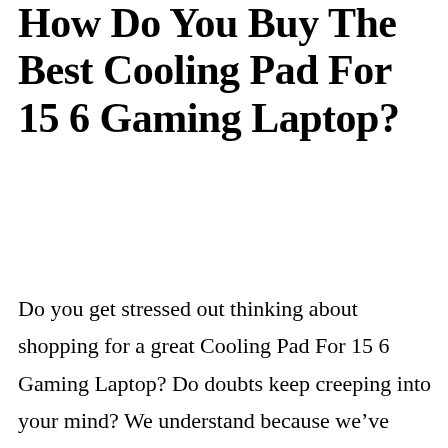How Do You Buy The Best Cooling Pad For 15 6 Gaming Laptop?
Do you get stressed out thinking about shopping for a great Cooling Pad For 15 6 Gaming Laptop? Do doubts keep creeping into your mind? We understand because we've already gone through the whole process of researching Cooling Pad For 15 6 Gaming Laptop, which is why we have assembled a comprehensive list of the greatest Cooling Pad For 15 6 Gaming Laptop available in the current